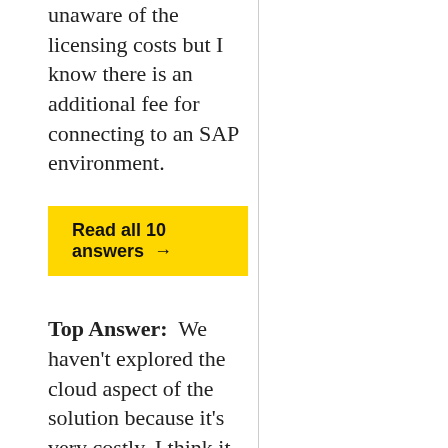unaware of the licensing costs but I know there is an additional fee for connecting to an SAP environment.
Read all 10 answers →
Top Answer:  We haven't explored the cloud aspect of the solution because it's very costly. I think it should be provided as a free feature, which